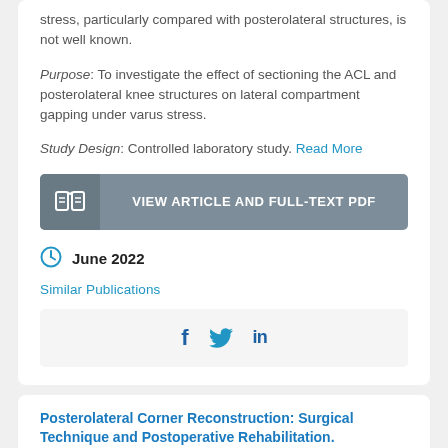stress, particularly compared with posterolateral structures, is not well known.
Purpose: To investigate the effect of sectioning the ACL and posterolateral knee structures on lateral compartment gapping under varus stress.
Study Design: Controlled laboratory study. Read More
[Figure (other): Button: VIEW ARTICLE AND FULL-TEXT PDF with book icon]
June 2022
Similar Publications
[Figure (other): Social sharing icons: Facebook, Twitter, LinkedIn]
Posterolateral Corner Reconstruction: Surgical Technique and Postoperative Rehabilitation.